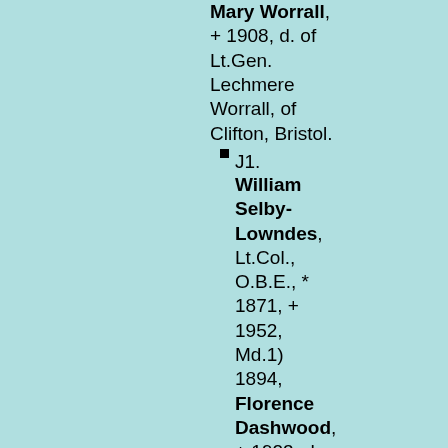Mary Worrall, + 1908, d. of Lt.Gen. Lechmere Worrall, of Clifton, Bristol.
J1. William Selby-Lowndes, Lt.Col., O.B.E., * 1871, + 1952, Md.1) 1894, Florence Dashwood, + 1923, d. of Sir Edwin Abercomby Dashwood, 8th Bt.
K1. Willia...